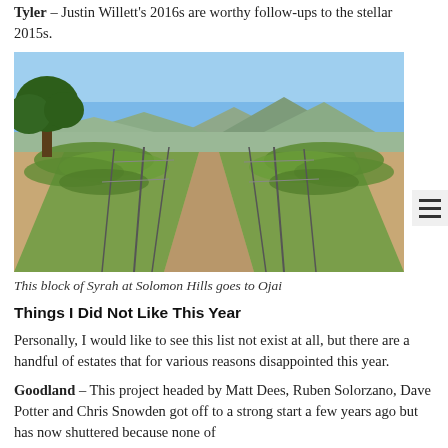Tyler – Justin Willett's 2016s are worthy follow-ups to the stellar 2015s.
[Figure (photo): A vineyard row of Syrah vines at Solomon Hills under a clear blue sky, with mountains in the background and a large oak tree to the left.]
This block of Syrah at Solomon Hills goes to Ojai
Things I Did Not Like This Year
Personally, I would like to see this list not exist at all, but there are a handful of estates that for various reasons disappointed this year.
Goodland – This project headed by Matt Dees, Ruben Solorzano, Dave Potter and Chris Snowden got off to a strong start a few years ago but has now shuttered because none of